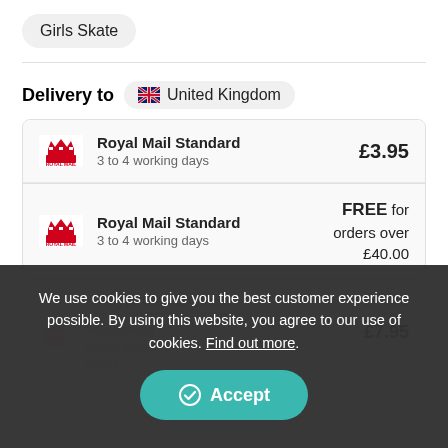Girls Skate
Delivery to 🇬🇧 United Kingdom
| Logo | Service | Price |
| --- | --- | --- |
| Royal Mail | Royal Mail Standard
3 to 4 working days | £3.95 |
| Royal Mail | Royal Mail Standard
3 to 4 working days | FREE for orders over £40.00 |
| Royal Mail | Royal Mail Express | £4.95 |
| DPD | Next working day... | £7.95 |
We use cookies to give you the best customer experience possible. By using this website, you agree to our use of cookies. Find out more.
Accept